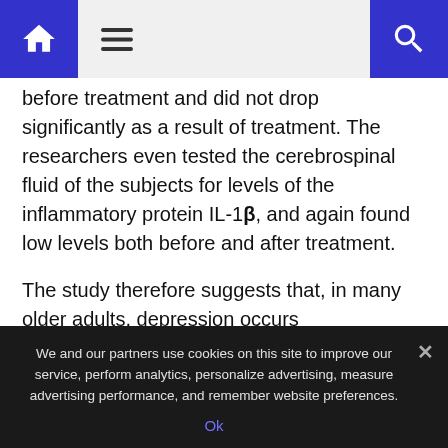Home menu Search
before treatment and did not drop significantly as a result of treatment. The researchers even tested the cerebrospinal fluid of the subjects for levels of the inflammatory protein IL-1β, and again found low levels both before and after treatment.
The study therefore suggests that, in many older adults, depression occurs independently of inflammation, and probably won't be alleviated by anti-inflammatory treatments unless inflammation is present in addition to depression.
The researchers note, however, that because their study excluded late-life depression patients who have inflammatory disorders, it leaves
We and our partners use cookies on this site to improve our service, perform analytics, personalize advertising, measure advertising performance, and remember website preferences.
Ok